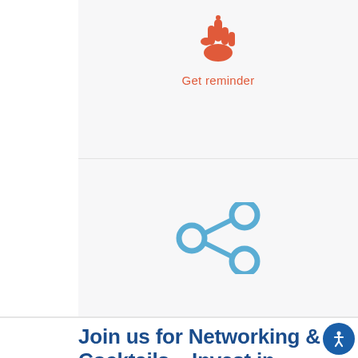[Figure (illustration): Orange/coral fist/reminder bell icon (hand with finger raised, reminiscent of a bell reminder)]
Get reminder
[Figure (illustration): Blue share/network icon with three connected circles]
Join us for Networking & Cocktails – Invest in Yourself and Your Future
TechTalk Events are a great way to improve your business connections and expand your professional network. Not only do our events give you a chance to network with your IT peers, but